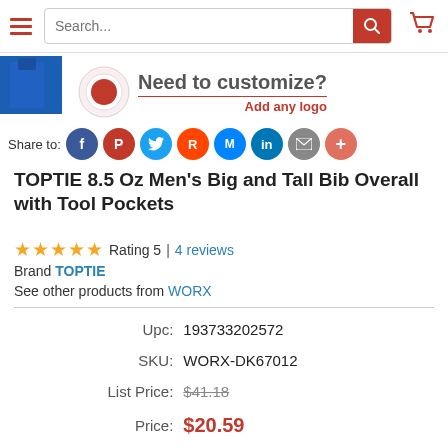Search... (navigation bar with hamburger menu and cart)
[Figure (photo): Partial product image thumbnail showing blue bib overall on left side]
[Figure (infographic): Customize banner with red button icon: 'Need to customize? Add any logo']
Share to: (Facebook, Pinterest, Twitter, Reddit, Messenger, LinkedIn, Email, More social icons)
TOPTIE 8.5 Oz Men's Big and Tall Bib Overall with Tool Pockets
★★★★★ Rating 5 | 4 reviews
Brand TOPTIE
See other products from WORX
| Field | Value |
| --- | --- |
| Upc: | 193733202572 |
| SKU: | WORX-DK67012 |
| List Price: | $41.18 |
| Price: | $20.59 |